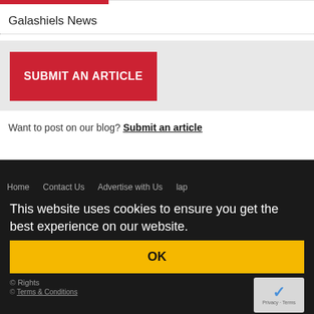[Figure (other): Red horizontal bar (partial, cropped at top)]
Galashiels News
[Figure (other): Submit an Article red button]
Want to post on our blog? Submit an article
Home   Contact Us   Advertise with Us   lap
This website uses cookies to ensure you get the best experience on our website.
OK
Rights
[Figure (other): reCAPTCHA widget with checkbox icon and Privacy - Terms text]